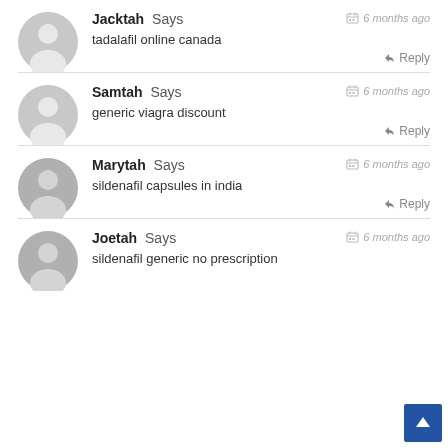Jacktah Says — 6 months ago — tadalafil online canada — Reply
Samtah Says — 6 months ago — generic viagra discount — Reply
Marytah Says — 6 months ago — sildenafil capsules in india — Reply
Joetah Says — 6 months ago — sildenafil generic no prescription — Reply